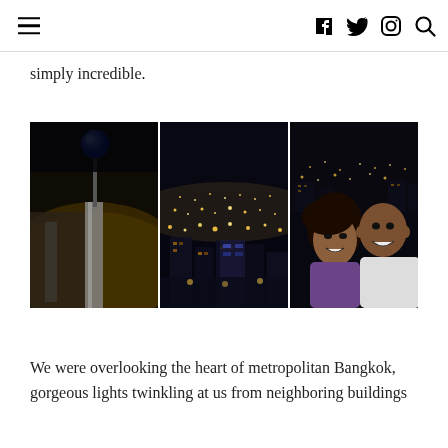navigation header with hamburger menu and social icons (Facebook, Twitter, Instagram, Search)
simply incredible.
[Figure (photo): Three side-by-side night photos: (1) rooftop architectural detail with a blue illuminated globe/ball on a pole against dark sky; (2) aerial night view of Bangkok city lights from high above; (3) couple selfie smiling with Bangkok night cityscape visible behind them.]
We were overlooking the heart of metropolitan Bangkok, gorgeous lights twinkling at us from neighboring buildings